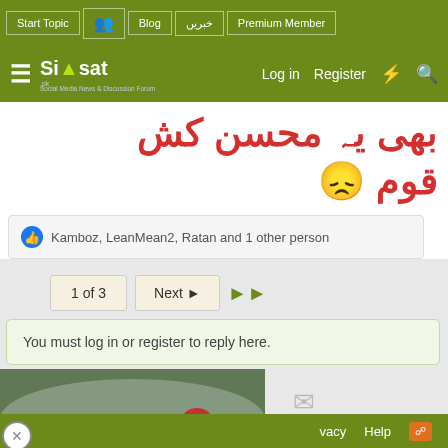Start Topic | Blog | خبریں | Premium Member | Log in | Register
[Figure (screenshot): Siasat.pk logo with hamburger menu on green navigation bar]
بھی یہ محسن کش قوم 😞
Kamboz, LeanMean2, Ratan and 1 other person
1 of 3  Next ▶  ▶▶
You must log in or register to reply here.
[Figure (photo): Video thumbnail showing a firefighter with red helmet in front of forest fire with smoke, featuring a play button overlay]
vacy  Help  RSS